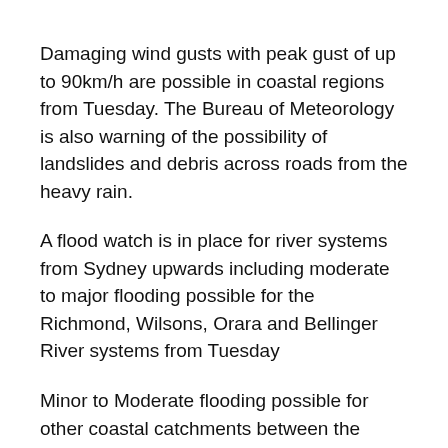Damaging wind gusts with peak gust of up to 90km/h are possible in coastal regions from Tuesday. The Bureau of Meteorology is also warning of the possibility of landslides and debris across roads from the heavy rain.
A flood watch is in place for river systems from Sydney upwards including moderate to major flooding possible for the Richmond, Wilsons, Orara and Bellinger River systems from Tuesday
Minor to Moderate flooding possible for other coastal catchments between the Tweed and Hawkesbury Nepean Valley.
In Queensland a severe weather warning is active for people in on the Southeast Coast including parts of Darling Downs